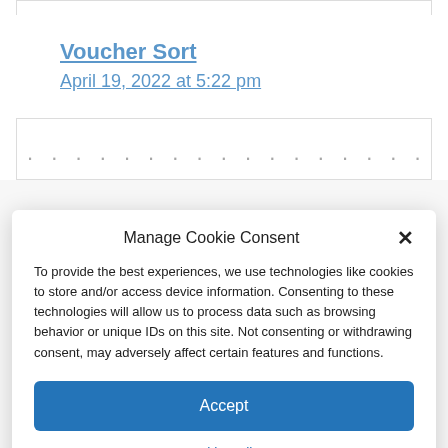Voucher Sort
April 19, 2022 at 5:22 pm
Manage Cookie Consent
To provide the best experiences, we use technologies like cookies to store and/or access device information. Consenting to these technologies will allow us to process data such as browsing behavior or unique IDs on this site. Not consenting or withdrawing consent, may adversely affect certain features and functions.
Accept
Cookie Policy